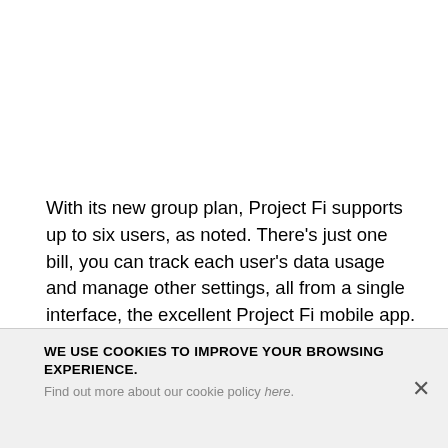With its new group plan, Project Fi supports up to six users, as noted. There's just one bill, you can track each user's data usage and manage other settings, all from a single interface, the excellent Project Fi mobile app.
Each new group member gets Fi Basics, with unlimited
WE USE COOKIES TO IMPROVE YOUR BROWSING EXPERIENCE. Find out more about our cookie policy here.